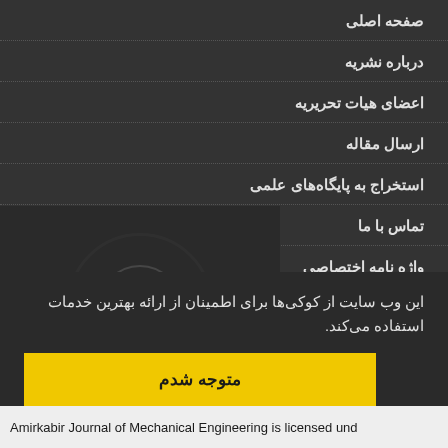صفحه اصلی
درباره نشریه
اعضای هیات تحریریه
ارسال مقاله
استخراج به پایگاه‌های علمی
تماس با ما
واژه نامه اختصاصی
اشتراک نسخه چاپی نشریه
نقشه سایت
این وب سایت از کوکی‌ها برای اطمینان از ارائه بهترین خدمات استفاده می‌کند.
متوجه شدم
Amirkabir Journal of Mechanical Engineering is licensed und